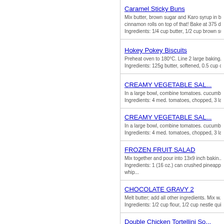Caramel Sticky Buns
Mix butter, brown sugar and Karo syrup in b... cinnamon rolls on top of that! Bake at 375 d...
Ingredients: 1/4 cup butter, 1/2 cup brown suga...
Hokey Pokey Biscuits
Preheat oven to 180°C. Line 2 large baking...
Ingredients: 125g butter, softened, 0.5 cup caste...
CREAMY VEGETABLE SAL...
In a large bowl, combine tomatoes. cucumb...
Ingredients: 4 med. tomatoes, chopped, 3 large...
CREAMY VEGETABLE SAL...
In a large bowl, combine tomatoes. cucumb...
Ingredients: 4 med. tomatoes, chopped, 3 large...
FROZEN FRUIT SALAD
Mix together and pour into 13x9 inch bakin...
Ingredients: 1 (16 oz.) can crushed pineapple w... whip...
CHOCOLATE GRAVY 2
Melt butter; add all other ingredients. Mix w...
Ingredients: 1/2 cup flour, 1/2 cup nestle quick,...
Double Chicken Tortellini So...
Combine chicken broth, corn and tomatoes... and chicken; reduce heat to medium. Cook...